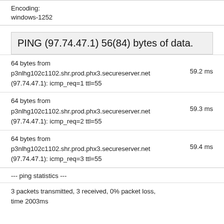Encoding:
windows-1252
PING (97.74.47.1) 56(84) bytes of data.
64 bytes from p3nlhg102c1102.shr.prod.phx3.secureserver.net (97.74.47.1): icmp_req=1 ttl=55	59.2 ms
64 bytes from p3nlhg102c1102.shr.prod.phx3.secureserver.net (97.74.47.1): icmp_req=2 ttl=55	59.3 ms
64 bytes from p3nlhg102c1102.shr.prod.phx3.secureserver.net (97.74.47.1): icmp_req=3 ttl=55	59.4 ms
--- ping statistics ---
3 packets transmitted, 3 received, 0% packet loss,
time 2003ms